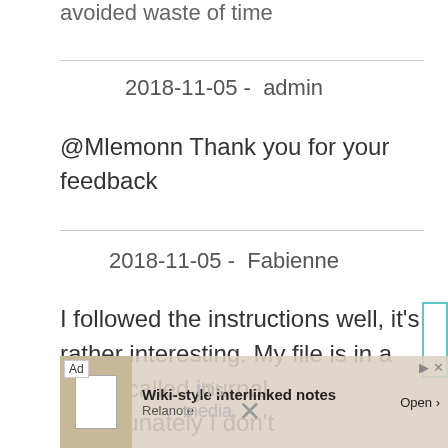avoided waste of time
2018-11-05 -  admin
@Mlemonn Thank you for your feedback
2018-11-05 -  Fabienne
I followed the instructions well, it's rather interesting. My file is in a folder called journal. Unfortunately I don't
[Figure (screenshot): Ad banner overlay: Wiki-style interlinked notes, Relanote, Open button]